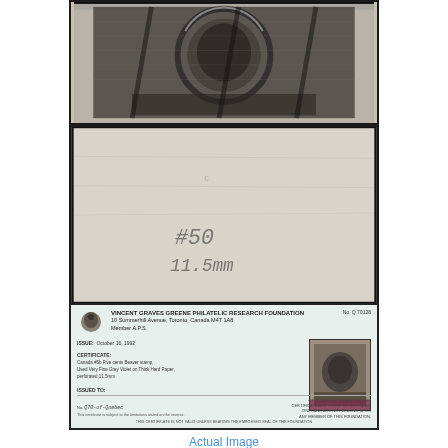[Figure (photo): Front of a classic postage stamp, dark engraved design, partially visible, showing ornate circular pattern and denomination details]
[Figure (photo): Back of a postage stamp on light grey paper with handwritten annotations '#50' and '11.5mm' in pencil]
[Figure (photo): Philatelic research foundation certificate of authenticity with organization logo, stamp image, description fields, and signature]
Actual Image
Used - Very Fine - Grey Violet on Thick Hard Paper (#5d) with